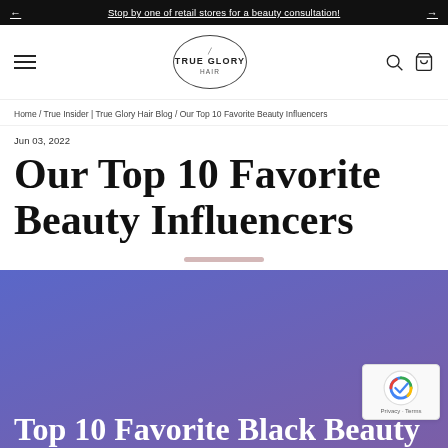Stop by one of retail stores for a beauty consultation!
[Figure (logo): True Glory Hair logo: circle outline with feather, brand name TRUE GLORY HAIR]
Home / True Insider | True Glory Hair Blog / Our Top 10 Favorite Beauty Influencers
Jun 03, 2022
Our Top 10 Favorite Beauty Influencers
[Figure (illustration): Blue/purple gradient section with partial white title text: Top 10 Favorite Black Beauty]
Top 10 Favorite Black Beauty